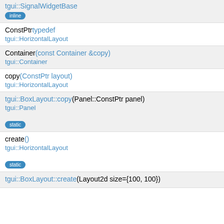tgui::SignalWidgetBase (partial, top cut off)
inline badge
ConstPtr typedef
tgui::HorizontalLayout
Container(const Container &copy)
tgui::Container
copy(ConstPtr layout)
tgui::HorizontalLayout
tgui::BoxLayout::copy(Panel::ConstPtr panel)
tgui::Panel
static badge
create()
tgui::HorizontalLayout
static badge
tgui::BoxLayout::create(Layout2d size={100, 100})